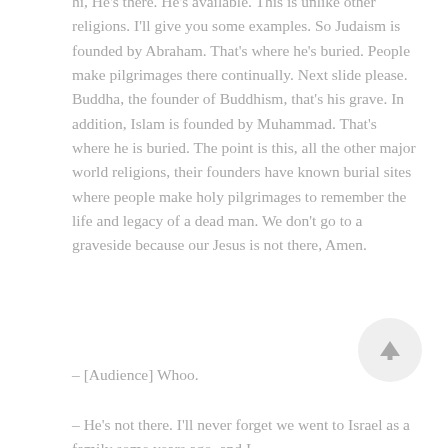hi, He's there. He's available. This is unlike other religions. I'll give you some examples. So Judaism is founded by Abraham. That's where he's buried. People make pilgrimages there continually. Next slide please. Buddha, the founder of Buddhism, that's his grave. In addition, Islam is founded by Muhammad. That's where he is buried. The point is this, all the other major world religions, their founders have known burial sites where people make holy pilgrimages to remember the life and legacy of a dead man. We don't go to a graveside because our Jesus is not there, Amen.
– [Audience] Whoo.
– He's not there. I'll never forget we went to Israel as a family some years ago, and I